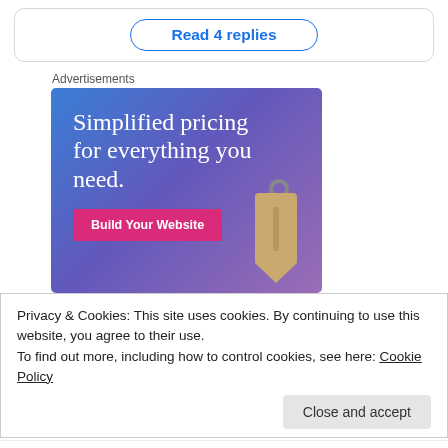Read 4 replies
Advertisements
[Figure (illustration): Advertisement banner with blue-to-purple gradient background, text 'Simplified pricing for everything you need.', a pink 'Build Your Website' button, and a decorative price tag hanging on the right side.]
Privacy & Cookies: This site uses cookies. By continuing to use this website, you agree to their use.
To find out more, including how to control cookies, see here: Cookie Policy
Close and accept
@AnnaBulzomi · Follow